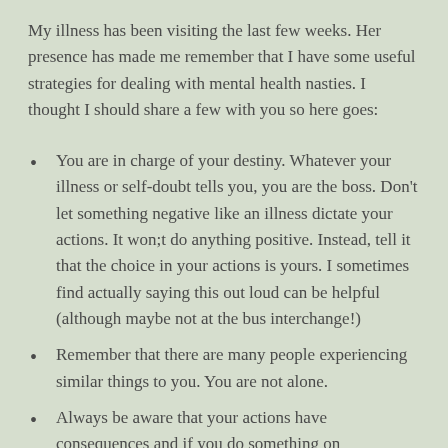My illness has been visiting the last few weeks. Her presence has made me remember that I have some useful strategies for dealing with mental health nasties. I thought I should share a few with you so here goes:
You are in charge of your destiny. Whatever your illness or self-doubt tells you, you are the boss. Don't let something negative like an illness dictate your actions. It won;t do anything positive. Instead, tell it that the choice in your actions is yours. I sometimes find actually saying this out loud can be helpful (although maybe not at the bus interchange!)
Remember that there are many people experiencing similar things to you. You are not alone.
Always be aware that your actions have consequences and if you do something on